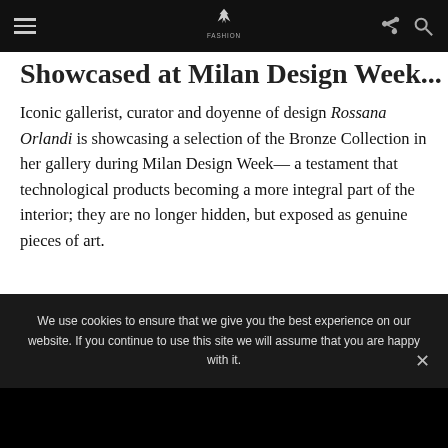Fashion — navigation bar with hamburger menu, logo, share and search icons
Showcased at Milan Design Week...
Iconic gallerist, curator and doyenne of design Rossana Orlandi is showcasing a selection of the Bronze Collection in her gallery during Milan Design Week— a testament that technological products becoming a more integral part of the interior; they are no longer hidden, but exposed as genuine pieces of art.
We use cookies to ensure that we give you the best experience on our website. If you continue to use this site we will assume that you are happy with it.